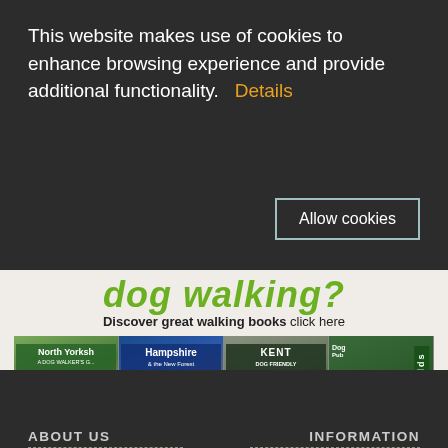This website makes use of cookies to enhance browsing experience and provide additional functionality.  Details
Allow cookies
[Figure (photo): Advertisement image showing dog walking books: North Yorkshire A Dog Walker's Guide, Hampshire & the New Forest A Dog Walker's Guide, Kent Dog Friendly Pub Walks, Cotswolds, and Dog Friendly Pub (partially visible)]
dog walking?
Discover great walking books click here
ABOUT US
INFORMATION